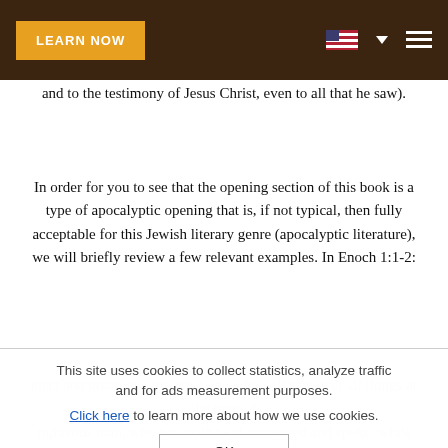LEARN NOW
and to the testimony of Jesus Christ, even to all that he saw).
In order for you to see that the opening section of this book is a type of apocalyptic opening that is, if not typical, then fully acceptable for this Jewish literary genre (apocalyptic literature), we will briefly review a few relevant examples. In Enoch 1:1-2:
This site uses cookies to collect statistics, analyze traffic and for ads measurement purposes. Click here to learn more about how we use cookies. OK
righteous man, who was with God, answered and spoke, while his eyes were open and he saw a holy vision in the heavens.